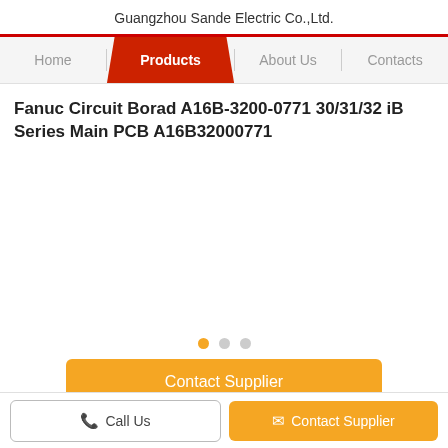Guangzhou Sande Electric Co.,Ltd.
[Figure (screenshot): Navigation bar with Home, Products (active/selected in red), About Us, and Contacts menu items]
Fanuc Circuit Borad A16B-3200-0771 30/31/32 iB Series Main PCB A16B32000771
[Figure (photo): Product image area with three carousel dots below (first dot active in orange)]
Contact Supplier
Product Details
Call Us
Contact Supplier